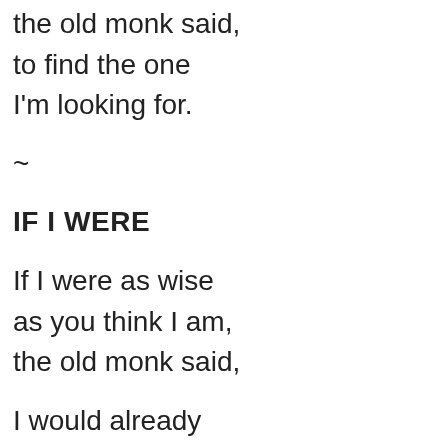the old monk said,
to find the one
I'm looking for.
~
IF I WERE
If I were as wise
as you think I am,
the old monk said,
I would already
be a star fixed
high in the sky.
~
WITHOUT LOVE